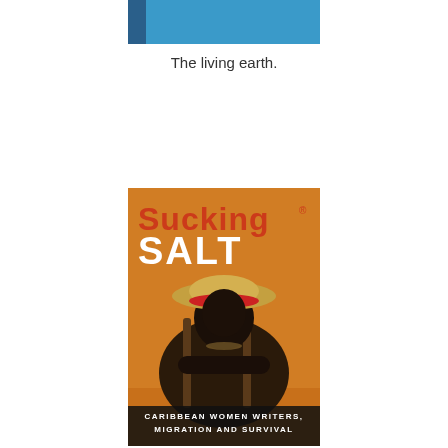[Figure (illustration): Blue rectangular image at top center of page, appears to be a partial view of a book cover with blue background and a dark vertical stripe on the left side]
The living earth.
[Figure (illustration): Book cover of 'Sucking Salt: Caribbean Women Writers, Migration and Survival'. Shows a painting of a dark-skinned woman sitting in a chair wearing a wide-brimmed hat with a red headband. Title text 'Sucking' in large red letters and 'SALT' in large white letters at top. Subtitle 'CARIBBEAN WOMEN WRITERS, MIGRATION AND SURVIVAL' in white text at bottom on dark background.]